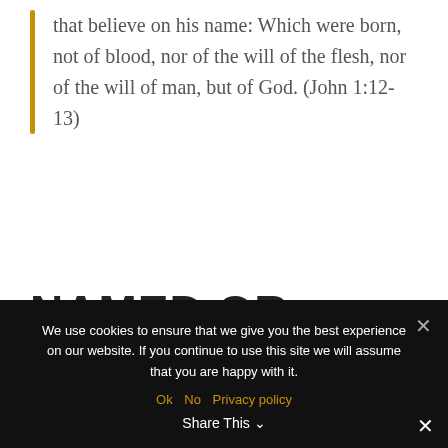that believe on his name: Which were born, not of blood, nor of the will of the flesh, nor of the will of man, but of God. (John 1:12-13)
NAMED OR NUMBERED?
We use cookies to ensure that we give you the best experience on our website. If you continue to use this site we will assume that you are happy with it.
Ok  No  Privacy policy
Share This